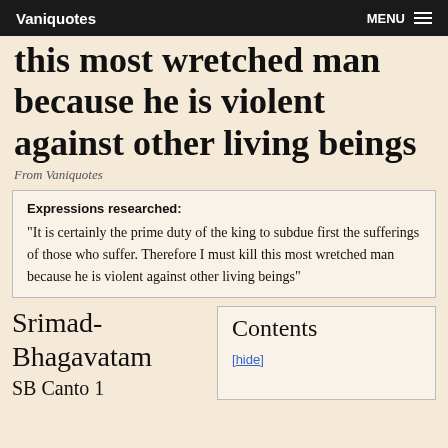Vaniquotes   MENU
this most wretched man because he is violent against other living beings
From Vaniquotes
Expressions researched: "It is certainly the prime duty of the king to subdue first the sufferings of those who suffer. Therefore I must kill this most wretched man because he is violent against other living beings"
Srimad-Bhagavatam
SB Canto 1
Contents [hide]